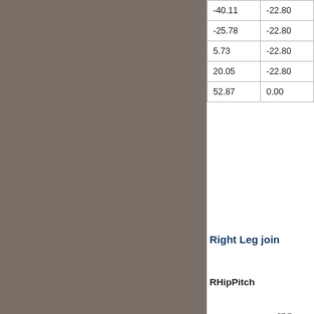|  |  |
| --- | --- |
| -40.11 | -22.80 |
| -25.78 | -22.80 |
| 5.73 | -22.80 |
| 20.05 | -22.80 |
| 52.87 | 0.00 |
Right Leg join
RHipPitch
[Figure (engineering-diagram): Partial biomechanics diagram showing right leg joint angles. RHipPitch label on left, value 27.7 visible, arc drawn. RKneePitch label with arc and value 121. RAnklePitch label visible at bottom.]
RKneePitch
RAnklePitch